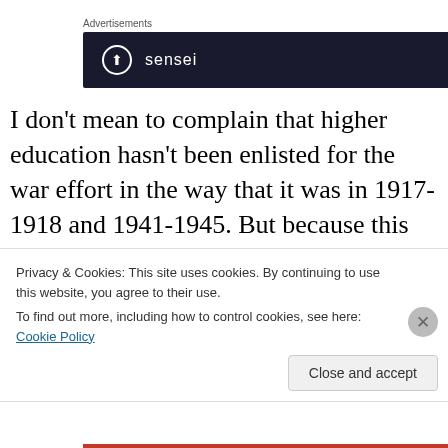Advertisements
[Figure (logo): Sensei advertisement banner with dark navy background, showing a circular logo icon and the text 'sensei']
I don't mean to complain that higher education hasn't been enlisted for the war effort in the way that it was in 1917-1918 and 1941-1945. But because this has been a war fought by a volunteer military (and private contractors), with civilians being told in every way imaginable that their
Privacy & Cookies: This site uses cookies. By continuing to use this website, you agree to their use.
To find out more, including how to control cookies, see here: Cookie Policy